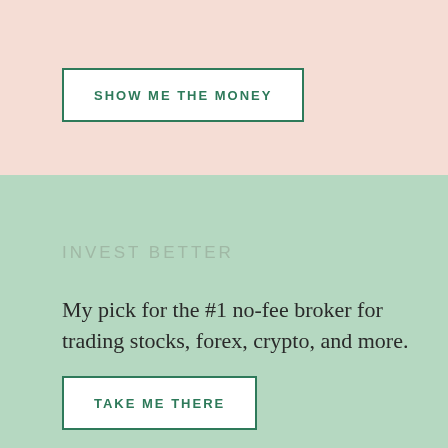SHOW ME THE MONEY
INVEST BETTER
My pick for the #1 no-fee broker for trading stocks, forex, crypto, and more.
TAKE ME THERE